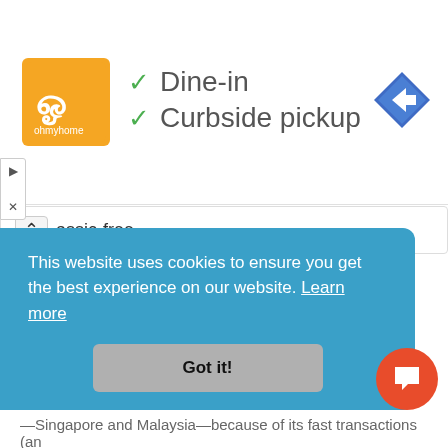[Figure (screenshot): Ad banner showing a restaurant logo with orange background, checkmarks for 'Dine-in' and 'Curbside pickup', and a Google Maps navigation arrow icon on the right]
assic-free.
A complete cross-border property platform
A leading proptech company in Singapore and Malaysia, Ohmyhome was founded in 2016 to be a one-stop shop that takes care of customers' property-related needs—from buy, sell
This website uses cookies to ensure you get the best experience on our website. Learn more
Got it!
—Singapore and Malaysia—because of its fast transactions (an